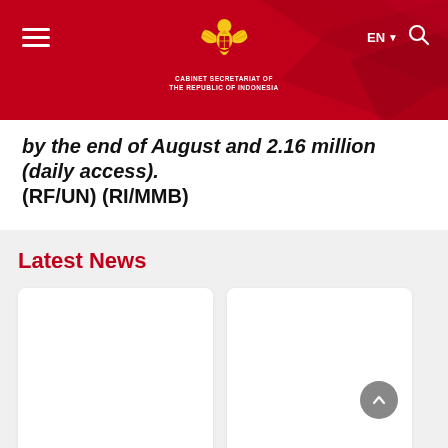[Figure (screenshot): Cabinet Secretariat of the Republic of Indonesia website header with red background, Garuda logo in center, hamburger menu on left, EN language selector and search icon on right]
by the end of August and 2.16 million (daily access). (RF/UN) (RI/MMB)
Latest News
26 Agustus 2022
25 Agustus 2022